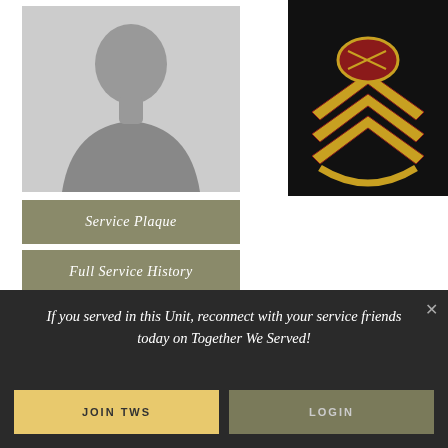[Figure (photo): Generic silhouette placeholder profile photo on grey background]
[Figure (photo): US Marine Corps Gunnery Sergeant rank insignia chevrons in gold and red on black background]
Service Plaque
Full Service History
Alvarado, Joaquin, GySgt
If you served in this Unit, reconnect with your service friends today on Together We Served!
JOIN TWS
LOGIN